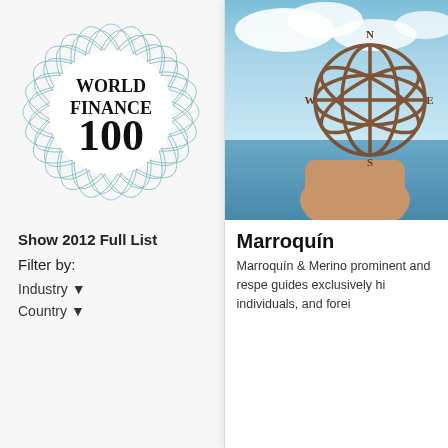[Figure (logo): World Finance 100 logo — decorative guilloche rosette border in teal/blue with text 'WORLD FINANCE 100' in the center]
Show 2012 Full List
Filter by:
Industry ▼
Country ▼
[Figure (photo): Photo of a hand holding a spherical armillary globe/compass against a beach sky background]
Marroquín
Marroquín & Merino prominent and respe guides exclusively hi individuals, and forei